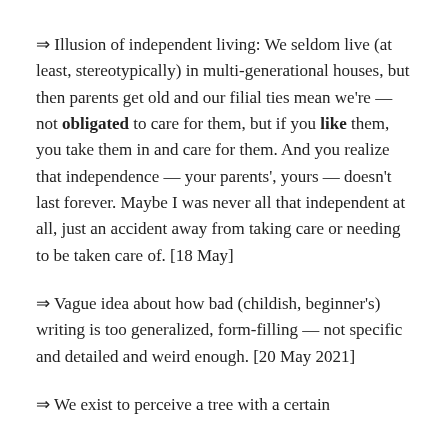⇒ Illusion of independent living: We seldom live (at least, stereotypically) in multi-generational houses, but then parents get old and our filial ties mean we're — not obligated to care for them, but if you like them, you take them in and care for them. And you realize that independence — your parents', yours — doesn't last forever. Maybe I was never all that independent at all, just an accident away from taking care or needing to be taken care of. [18 May]
⇒ Vague idea about how bad (childish, beginner's) writing is too generalized, form-filling — not specific and detailed and weird enough. [20 May 2021]
⇒ We exist to perceive a tree with a certain